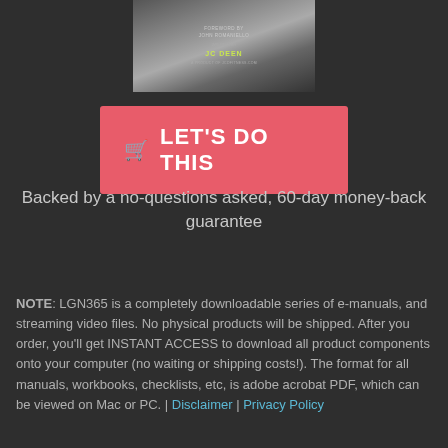[Figure (illustration): Book cover image for LGN365 product, dark background with muscular figure, text including FOREWORD BY JOHN ROMANIELLO, WRITTEN BY JC DEEN, A PRODUCT OF JCDFITNESS.COM]
[Figure (other): Red call-to-action button with shopping cart icon and text LET'S DO THIS]
Backed by a no-questions asked, 60-day money-back guarantee
NOTE: LGN365 is a completely downloadable series of e-manuals, and streaming video files. No physical products will be shipped. After you order, you'll get INSTANT ACCESS to download all product components onto your computer (no waiting or shipping costs!). The format for all manuals, workbooks, checklists, etc, is adobe acrobat PDF, which can be viewed on Mac or PC. | Disclaimer | Privacy Policy